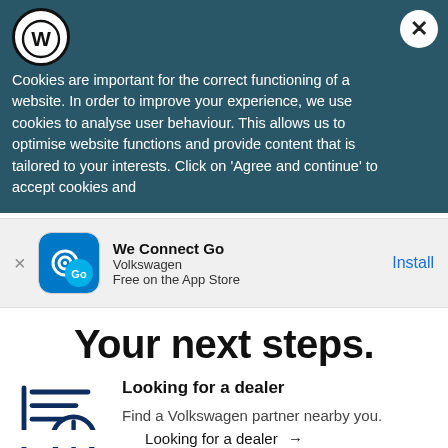[Figure (screenshot): Volkswagen website screenshot showing cookie consent overlay, app install banner, and 'Your next steps' page with dealer locator section]
Cookies are important for the correct functioning of a website. In order to improve your experience, we use cookies to analyse user behaviour. This allows us to optimise website functions and provide content that is tailored to your interests. Click on 'Agree and continue' to accept cookies and
We Connect Go
Volkswagen
Free on the App Store
Install
Your next steps.
Looking for a dealer
Find a Volkswagen partner nearby you.
Looking for a dealer →